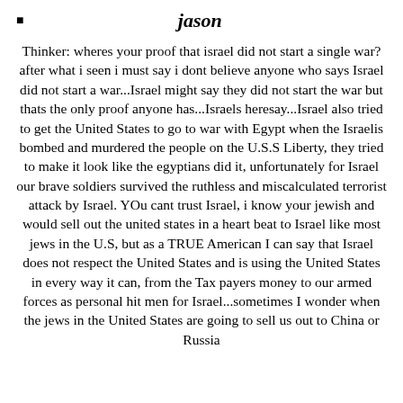jason
Thinker: wheres your proof that israel did not start a single war? after what i seen i must say i dont believe anyone who says Israel did not start a war...Israel might say they did not start the war but thats the only proof anyone has...Israels heresay...Israel also tried to get the United States to go to war with Egypt when the Israelis bombed and murdered the people on the U.S.S Liberty, they tried to make it look like the egyptians did it, unfortunately for Israel our brave soldiers survived the ruthless and miscalculated terrorist attack by Israel. YOu cant trust Israel, i know your jewish and would sell out the united states in a heart beat to Israel like most jews in the U.S, but as a TRUE American I can say that Israel does not respect the United States and is using the United States in every way it can, from the Tax payers money to our armed forces as personal hit men for Israel...sometimes I wonder when the jews in the United States are going to sell us out to China or Russia